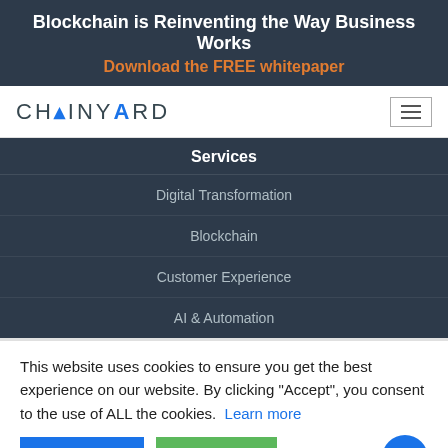Blockchain is Reinventing the Way Business Works
Download the FREE whitepaper
[Figure (logo): Chainyard logo with stylized triangle A letter in blue]
Services
Digital Transformation
Blockchain
Customer Experience
AI & Automation
This website uses cookies to ensure you get the best experience on our website. By clicking "Accept", you consent to the use of ALL the cookies.
Learn more
ACCEPT
REJECT